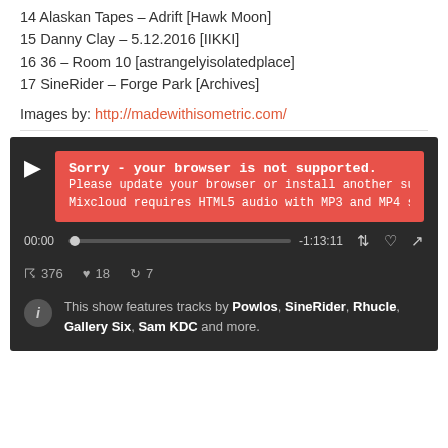14 Alaskan Tapes – Adrift [Hawk Moon]
15 Danny Clay – 5.12.2016 [IIKKI]
16 36 – Room 10 [astrangelyisolatedplace]
17 SineRider – Forge Park [Archives]
Images by: http://madewithisometric.com/
[Figure (screenshot): Mixcloud audio player widget with dark background showing a browser not supported error message in red/orange. Play button visible on left. Progress bar showing 00:00 / -1:13:11. Stats: 376 listens, 18 likes, 7 reposts. Info section showing: This show features tracks by Powlos, SineRider, Rhucle, Gallery Six, Sam KDC and more.]